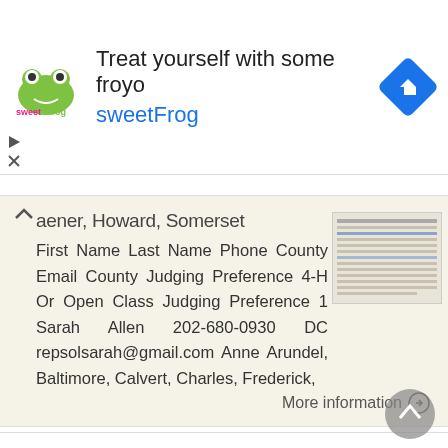[Figure (infographic): SweetFrog advertisement banner with logo, text 'Treat yourself with some froyo sweetFrog', and a navigation icon]
aener, Howard, Somerset
First Name Last Name Phone County Email County Judging Preference 4-H Or Open Class Judging Preference 1 Sarah Allen 202-680-0930 DC repsolsarah@gmail.com Anne Arundel, Baltimore, Calvert, Charles, Frederick,
More information →
Department of Legislative Services Maryland General Assembly 2007 Session FISCAL AND POLICY NOTE
Department of Legislative Services Maryland General Assembly 2007 Session SB 641 FISCAL AND POLICY NOTE Senate Bill 641 (Senator Raskin) Judicial Proceedings